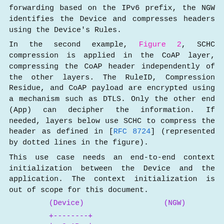encrypted packet arrives at the NGW. Thanks to the forwarding based on the IPv6 prefix, the NGW identifies the Device and compresses headers using the Device's Rules.
In the second example, Figure 2, SCHC compression is applied in the CoAP layer, compressing the CoAP header independently of the other layers. The RuleID, Compression Residue, and CoAP payload are encrypted using a mechanism such as DTLS. Only the other end (App) can decipher the information. If needed, layers below use SCHC to compress the header as defined in [RFC 8724] (represented by dotted lines in the figure).
This use case needs an end-to-end context initialization between the Device and the application. The context initialization is out of scope for this document.
[Figure (schematic): Diagram showing (Device) and (NGW) labels with CoAP and SCHC boxes drawn in ASCII art with purple lines]